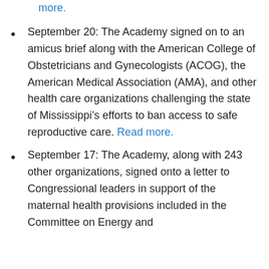more.
September 20: The Academy signed on to an amicus brief along with the American College of Obstetricians and Gynecologists (ACOG), the American Medical Association (AMA), and other health care organizations challenging the state of Mississippi’s efforts to ban access to safe reproductive care. Read more.
September 17: The Academy, along with 243 other organizations, signed onto a letter to Congressional leaders in support of the maternal health provisions included in the Committee on Energy and